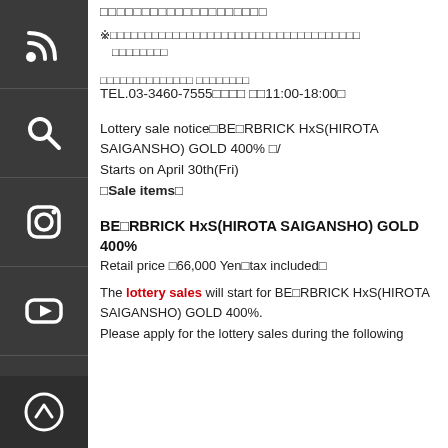□□□□□□□□□□□□□□□□□□□□
※□□□□□□□□□□□□□□□□□□□□□□□□□□□□□□□□□□□□
　□□□□□□□□
□□□□□□□□□□□□□□ □□□□□□□□
TEL.03-3460-7555□□□□ □□11:00-18:00□
Lottery sale notice□BE□RBRICK HxS(HIROTA SAIGANSHO) GOLD 400% □/
Starts on April 30th(Fri)
□Sale items□
BE□RBRICK HxS(HIROTA SAIGANSHO) GOLD 400%
Retail price □66,000 Yen□tax included□
The lottery sales will start for BE□RBRICK HxS(HIROTA SAIGANSHO) GOLD 400%.
Please apply for the lottery sales during the following